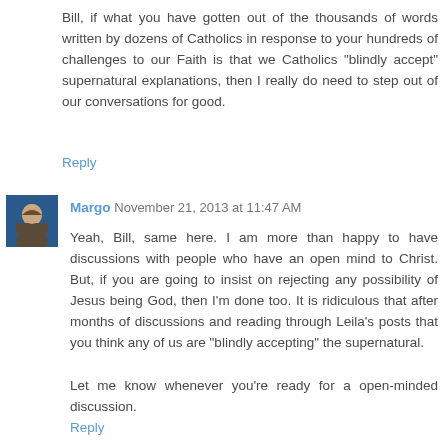Bill, if what you have gotten out of the thousands of words written by dozens of Catholics in response to your hundreds of challenges to our Faith is that we Catholics "blindly accept" supernatural explanations, then I really do need to step out of our conversations for good.
Reply
[Figure (photo): Small avatar photo of Margo showing a person at an event]
Margo November 21, 2013 at 11:47 AM
Yeah, Bill, same here. I am more than happy to have discussions with people who have an open mind to Christ. But, if you are going to insist on rejecting any possibility of Jesus being God, then I'm done too. It is ridiculous that after months of discussions and reading through Leila's posts that you think any of us are "blindly accepting" the supernatural.
Let me know whenever you're ready for a open-minded discussion.
Reply